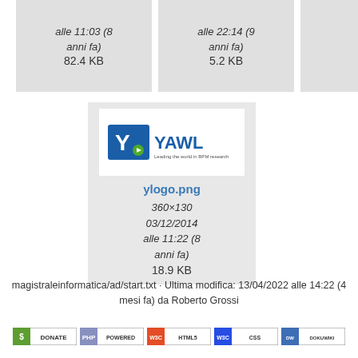alle 11:03 (8 anni fa) 82.4 KB
alle 22:14 (9 anni fa) 5.2 KB
[Figure (logo): YAWL logo — blue box with Y letter and YAWL wordmark]
ylogo.png
360×130
03/12/2014
alle 11:22 (8 anni fa)
18.9 KB
magistraleinformatica/ad/start.txt · Ultima modifica: 13/04/2022 alle 14:22 (4 mesi fa) da Roberto Grossi
[Figure (logo): Donate badge]
[Figure (logo): PHP Powered badge]
[Figure (logo): WSC HTML5 badge]
[Figure (logo): WSC CSS badge]
[Figure (logo): DokuWiki badge]